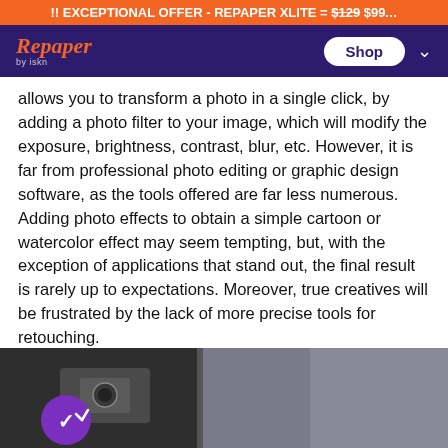!! EXCEPTIONAL OFFER - REPAPER XLITE = $129 $99
Repaper by iskn — Shop
allows you to transform a photo in a single click, by adding a photo filter to your image, which will modify the exposure, brightness, contrast, blur, etc. However, it is far from professional photo editing or graphic design software, as the tools offered are far less numerous. Adding photo effects to obtain a simple cartoon or watercolor effect may seem tempting, but, with the exception of applications that stand out, the final result is rarely up to expectations. Moreover, true creatives will be frustrated by the lack of more precise tools for retouching.
[Figure (photo): Bottom portion of a photo showing camera equipment and a person wearing knit clothing, with a purple circle checkmark icon overlay in the lower left.]